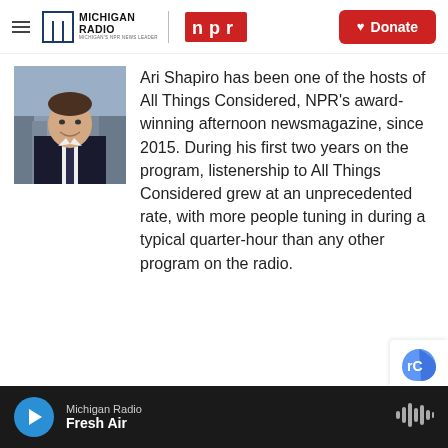Michigan Radio | NPR | Donate
[Figure (photo): Headshot of Ari Shapiro, a man in a dark suit and tie, smiling, with a city background]
Ari Shapiro has been one of the hosts of All Things Considered, NPR's award-winning afternoon newsmagazine, since 2015. During his first two years on the program, listenership to All Things Considered grew at an unprecedented rate, with more people tuning in during a typical quarter-hour than any other program on the radio.
Michigan Radio | Fresh Air